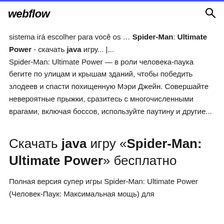webflow
sistema irá escolher para você os … Spider-Man: Ultimate Power - скачать java игру... |... Spider-Man: Ultimate Power — в роли человека-паука бегите по улицам и крышам зданий, чтобы победить злодеев и спасти похищенную Мэри Джейн. Совершайте невероятные прыжки, сразитесь с многочисленными врагами, включая боссов, используйте паутину и другие...
Скачать java игру «Spider-Man: Ultimate Power» бесплатно
Полная версия супер игры Spider-Man: Ultimate Power (Человек-Паук: Максимальная мощь) для